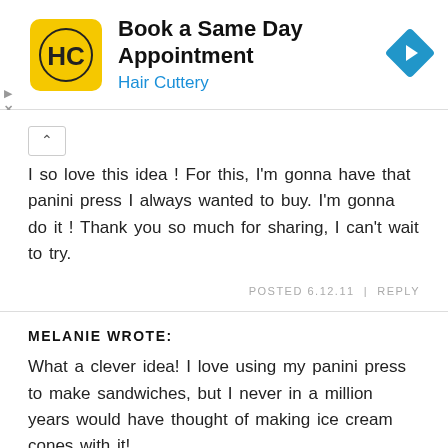[Figure (logo): Hair Cuttery ad banner with HC logo, title 'Book a Same Day Appointment', subtitle 'Hair Cuttery', and a blue diamond navigation arrow icon]
I so love this idea ! For this, I'm gonna have that panini press I always wanted to buy. I'm gonna do it ! Thank you so much for sharing, I can't wait to try.
POSTED 6.12.11  |  REPLY
MELANIE WROTE:
What a clever idea! I love using my panini press to make sandwiches, but I never in a million years would have thought of making ice cream cones with it!
POSTED 6.12.11  |  REPLY